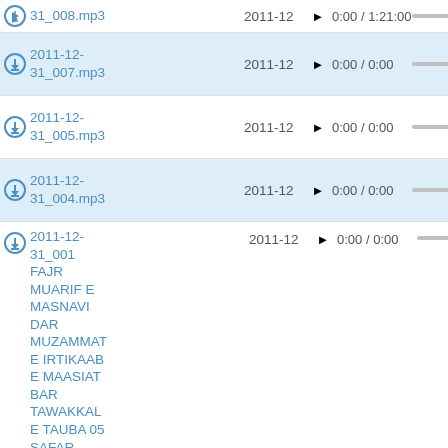31_008.mp3  2011-12  0:00 / 1:21:00
2011-12-31_007.mp3  2011-12  0:00 / 0:00
2011-12-31_005.mp3  2011-12  0:00 / 0:00
2011-12-31_004.mp3  2011-12  0:00 / 0:00
2011-12-31_001 FAJR MUARIF E MASNAVI DAR MUZAMMAT E IRTIKAAB E MAASIAT BAR TAWAKKAL E TAUBA 05 SAFAR  2011-12  0:00 / 0:00
2011-12-30_003 FRI TAUFEEQ